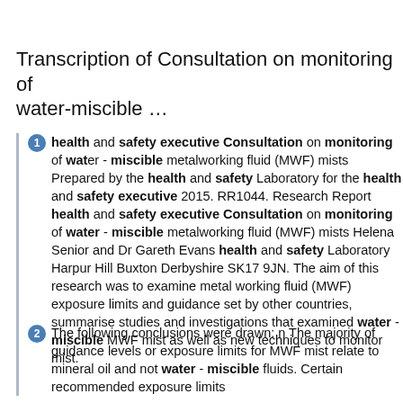Transcription of Consultation on monitoring of water-miscible …
1 health and safety executive Consultation on monitoring of water - miscible metalworking fluid (MWF) mists Prepared by the health and safety Laboratory for the health and safety executive 2015. RR1044. Research Report health and safety executive Consultation on monitoring of water - miscible metalworking fluid (MWF) mists Helena Senior and Dr Gareth Evans health and safety Laboratory Harpur Hill Buxton Derbyshire SK17 9JN. The aim of this research was to examine metal working fluid (MWF) exposure limits and guidance set by other countries, summarise studies and investigations that examined water - miscible MWF mist as well as new techniques to monitor mist.
2 The following conclusions were drawn: n The majority of guidance levels or exposure limits for MWF mist relate to mineral oil and not water - miscible fluids. Certain recommended exposure limits